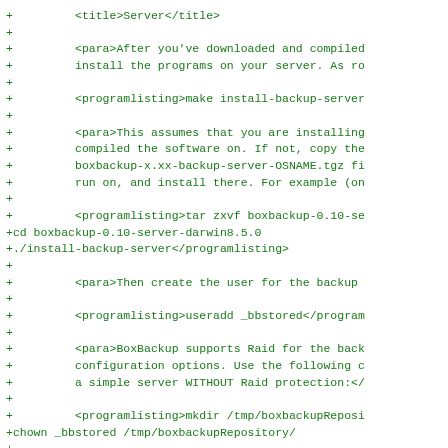+         <title>Server</title>
+
+         <para>After you've downloaded and compiled
+         install the programs on your server. As ro
+
+         <programlisting>make install-backup-server
+
+         <para>This assumes that you are installing
+         compiled the software on. If not, copy the
+         boxbackup-x.xx-backup-server-OSNAME.tgz fi
+         run on, and install there. For example (on
+
+         <programlisting>tar zxvf boxbackup-0.10-se
+cd boxbackup-0.10-server-darwin8.5.0
+./install-backup-server</programlisting>
+
+         <para>Then create the user for the backup
+
+         <programlisting>useradd _bbstored</program
+
+         <para>BoxBackup supports Raid for the back
+         configuration options. Use the following c
+         a simple server WITHOUT Raid protection:</
+
+         <programlisting>mkdir /tmp/boxbackupReposi
+chown _bbstored /tmp/boxbackupRepository/
+
+/usr/local/bin/raidfile-config /etc/box/  1024 /tm
+
+#substitute 1024 with the desired blocksize